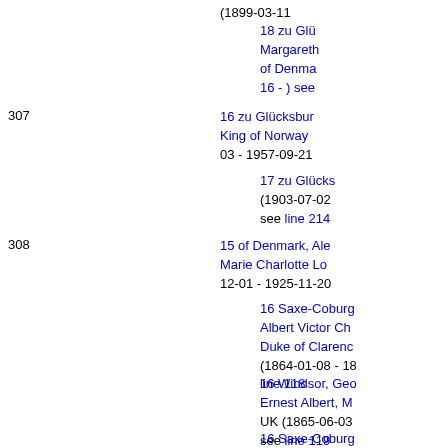(1899-03-11
18 zu Glü... Margareth... of Denma... 16 - ) see
307
16 zu Glücksbur... King of Norway... 03 - 1957-09-21
17 zu Glücks... (1903-07-02 ... see line 214
308
15 of Denmark, Ale... Marie Charlotte Lo... 12-01 - 1925-11-20
16 Saxe-Coburg... Albert Victor Ch... Duke of Clarenc... (1864-01-08 - 18... line 118
16 Windsor, Geo... Ernest Albert, M... UK (1865-06-03... see line 119
16 Saxe-Coburg... Louise Victoria...